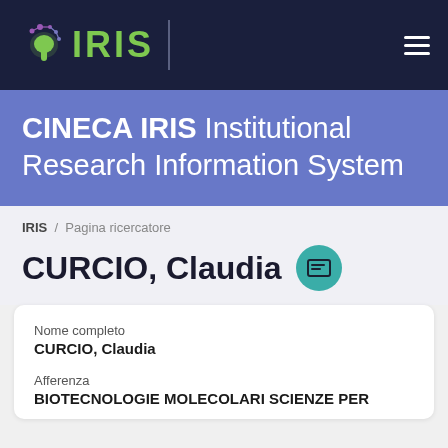[Figure (logo): IRIS logo with stylized eye/brain icon on dark navy navigation bar with hamburger menu icon]
CINECA IRIS Institutional Research Information System
IRIS / Pagina ricercatore
CURCIO, Claudia
Nome completo
CURCIO, Claudia
Afferenza
BIOTECNOLOGIE MOLECOLARI SCIENZE PER